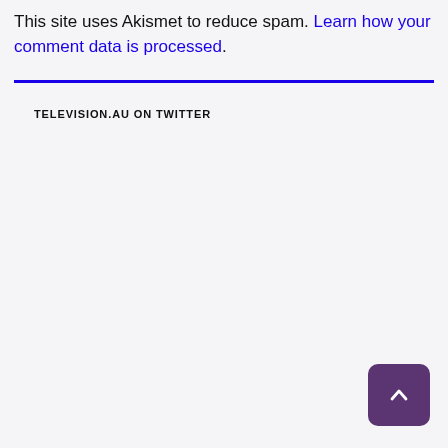This site uses Akismet to reduce spam. Learn how your comment data is processed.
TELEVISION.AU ON TWITTER